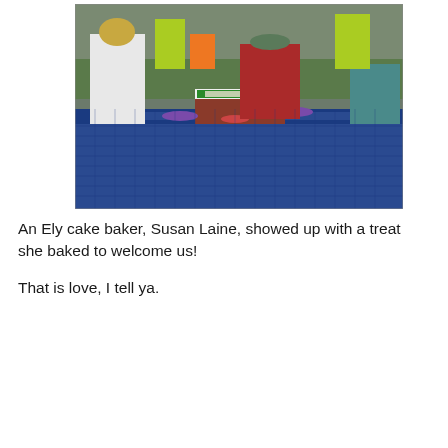[Figure (photo): Outdoor photo of people cutting and serving a decorated rectangular cake at a blue picnic table. A woman in a white shirt is on the left, a man in a red sweater and green cap is in the center, and others surround the table. Colorful purple and red plates are visible. Trees and other people in bright green shirts are in the background.]
An Ely cake baker, Susan Laine, showed up with a treat she baked to welcome us!
That is love, I tell ya.